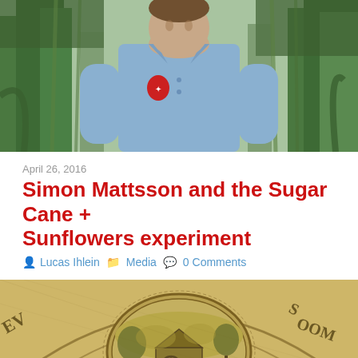[Figure (photo): Man in a blue collared shirt with a red logo, standing outdoors in front of tall green sugarcane plants. Photo is cropped at the shoulders/chest area.]
April 26, 2016
Simon Mattsson and the Sugar Cane + Sunflowers experiment
Lucas Ihlein   Media   0 Comments
[Figure (illustration): Vintage engraving illustration showing a rural or industrial scene, possibly a farm or mill, surrounded by decorative circular border with partial text visible ('EV...', '...S', 'OOM'). Sepia/tan colored aged appearance.]